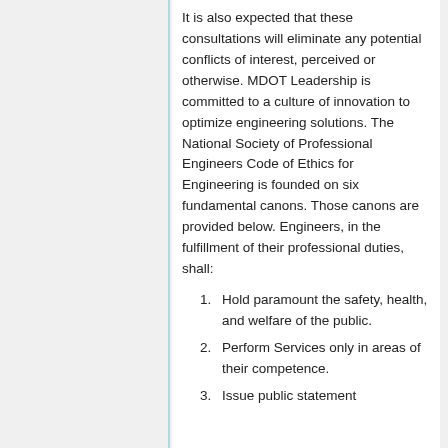It is also expected that these consultations will eliminate any potential conflicts of interest, perceived or otherwise. MDOT Leadership is committed to a culture of innovation to optimize engineering solutions. The National Society of Professional Engineers Code of Ethics for Engineering is founded on six fundamental canons. Those canons are provided below. Engineers, in the fulfillment of their professional duties, shall:
Hold paramount the safety, health, and welfare of the public.
Perform Services only in areas of their competence.
Issue public statement...